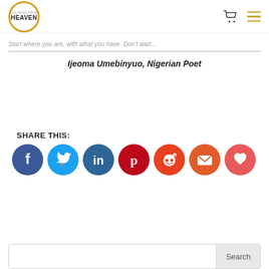HEAVEN
Start where you are, with what you have. Don't start…
Ijeoma Umebinyuo, Nigerian Poet
SHARE THIS:
[Figure (other): Row of social share buttons: Facebook (dark blue), Twitter (light blue), LinkedIn (blue), Pinterest (red), Reddit (orange-red), Email (orange), Heart/Like (coral red)]
[Figure (other): Search bar with text input and Search button]